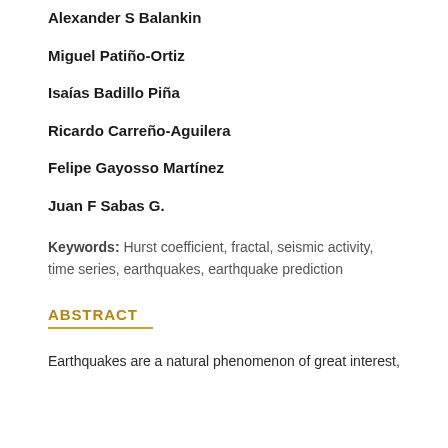Alexander S Balankin
Miguel Patiño-Ortiz
Isaías Badillo Piña
Ricardo Carreño-Aguilera
Felipe Gayosso Martínez
Juan F Sabas G.
Keywords: Hurst coefficient, fractal, seismic activity, time series, earthquakes, earthquake prediction
ABSTRACT
Earthquakes are a natural phenomenon of great interest,